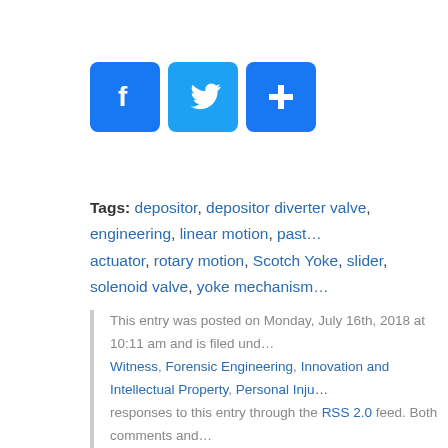[Figure (other): Social media sharing icons: Facebook (blue f), Twitter (blue bird), and a blue plus/share button]
Tags: depositor, depositor diverter valve, engineering, linear motion, past… actuator, rotary motion, Scotch Yoke, slider, solenoid valve, yoke mechanism…
This entry was posted on Monday, July 16th, 2018 at 10:11 am and is filed und… Witness, Forensic Engineering, Innovation and Intellectual Property, Personal Inju… responses to this entry through the RSS 2.0 feed. Both comments and…
Comments are closed.